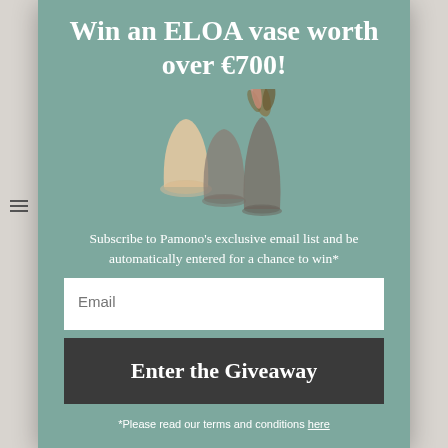Win an ELOA vase worth over €700!
[Figure (photo): Three decorative ELOA vases — one cream/peach frosted vase, one medium smoky glass vase, and one tall smoky glass vase with dried foliage]
Subscribe to Pamono's exclusive email list and be automatically entered for a chance to win*
Email
Enter the Giveaway
*Please read our terms and conditions here